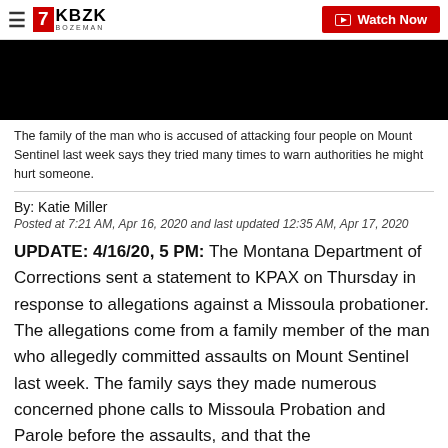KBZK BOZEMAN | Watch Now
[Figure (photo): Video thumbnail showing a dark/black image, likely a news video still]
The family of the man who is accused of attacking four people on Mount Sentinel last week says they tried many times to warn authorities he might hurt someone.
By: Katie Miller
Posted at 7:21 AM, Apr 16, 2020 and last updated 12:35 AM, Apr 17, 2020
UPDATE: 4/16/20, 5 PM: The Montana Department of Corrections sent a statement to KPAX on Thursday in response to allegations against a Missoula probationer. The allegations come from a family member of the man who allegedly committed assaults on Mount Sentinel last week. The family says they made numerous concerned phone calls to Missoula Probation and Parole before the assaults, and that the